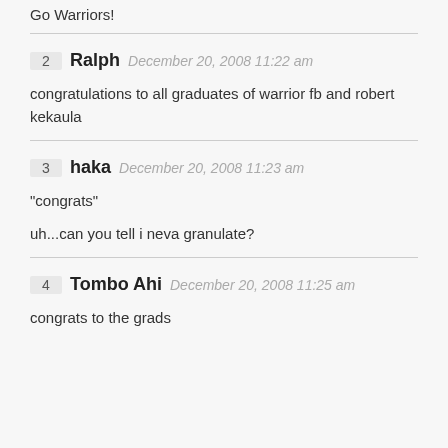Go Warriors!
2 Ralph December 20, 2008 11:22 am — congratulations to all graduates of warrior fb and robert kekaula
3 haka December 20, 2008 11:23 am — “congrats” uh...can you tell i neva granulate?
4 Tombo Ahi December 20, 2008 11:25 am — congrats to the grads